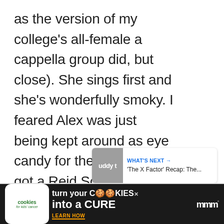as the version of my college's all-female a cappella group did, but close). She sings first and she's wonderfully smoky. I feared Alex was just being kept around as eye candy for the ladies (he's got a Reid Scott vibe, the guy who plays Dan on HBO's Veep), but once he joins in, he's every bit as good as she is.
[Figure (screenshot): UI elements: heart/like button (blue circle), count '1', and share button below]
[Figure (screenshot): 'What's Next' card showing Buddy TV icon and text ''The X Factor' Recap: The...']
[Figure (screenshot): Advertisement banner: Cookies for Kids Cancer - 'turn your COOKIES into a CURE LEARN HOW' on dark background]